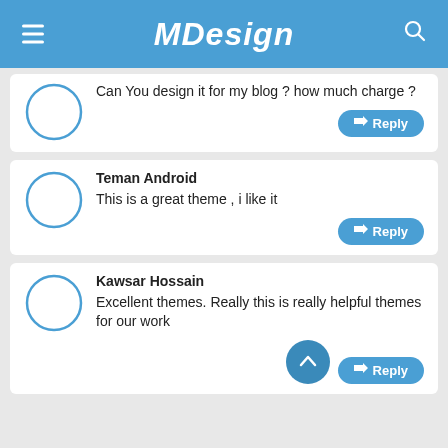MDesign
Can You design it for my blog ? how much charge ?
Reply
Teman Android
This is a great theme , i like it
Reply
Kawsar Hossain
Excellent themes. Really this is really helpful themes for our work
Reply